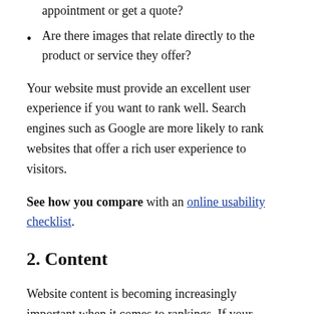appointment or get a quote?
Are there images that relate directly to the product or service they offer?
Your website must provide an excellent user experience if you want to rank well. Search engines such as Google are more likely to rank websites that offer a rich user experience to visitors.
See how you compare with an online usability checklist.
2. Content
Website content is becoming increasingly important when it comes to rankings. If your competitor's website has higher-quality, more relevant content than yours, this is likely a major factor contributing to their higher rankings. Search engines like sites that have fresh, updated content, so consider starting a blog